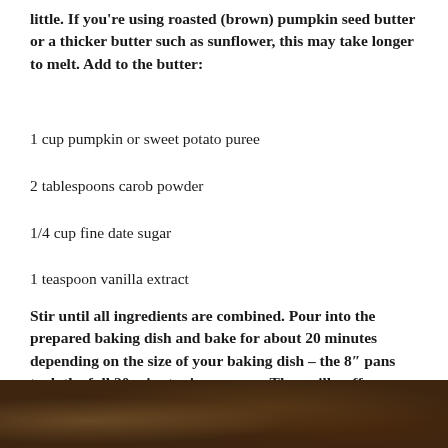little. If you're using roasted (brown) pumpkin seed butter or a thicker butter such as sunflower, this may take longer to melt. Add to the butter:
1 cup pumpkin or sweet potato puree
2 tablespoons carob powder
1/4 cup fine date sugar
1 teaspoon vanilla extract
Stir until all ingredients are combined. Pour into the prepared baking dish and bake for about 20 minutes depending on the size of your baking dish – the 8″ pans took the full 20 minutes in my oven. They will puff up slightly when they are cooked. Cool on the counter for 15-20 minutes and then refrigerate and chill completely before slicing and serving. Number of pieces will also depend on the size of the pan you used – I got 9 pieces from the square pan.
[Figure (photo): A close-up photo of dark chocolate brownie pieces on a surface]